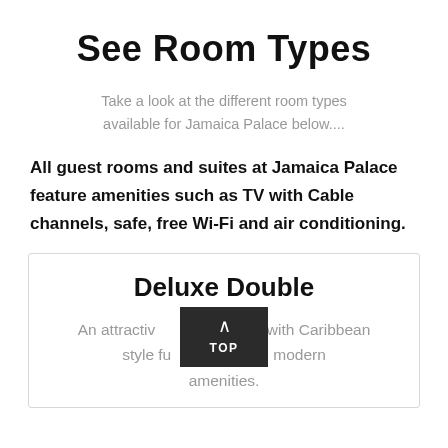See Room Types
Take a look at the different room types available for Jamaica Palace below....
All guest rooms and suites at Jamaica Palace feature amenities such as TV with Cable channels, safe, free Wi-Fi and air conditioning.
Deluxe Double
An attractive room with Caribbean style furnishings and all modern amenities.
[Figure (other): Dark 'TOP' button overlay with upward chevron arrow, overlaid on card text]